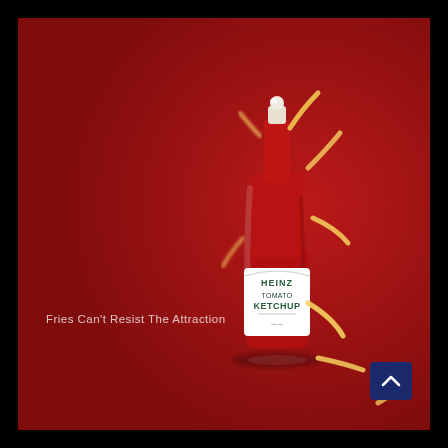[Figure (illustration): Heinz Tomato Ketchup bottle on a red background with french fries curving and flying around the bottle, suggesting magnetic attraction. The bottle is centered-right in the frame. French fries are scattered around and below the bottle. A small navigation scroll button (dark blue with upward chevron) is visible in the bottom-right corner.]
Fries Can't Resist The Attraction